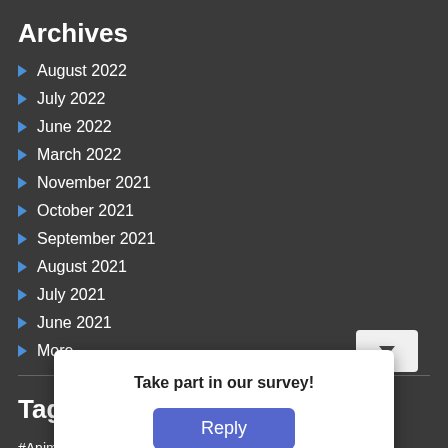Archives
August 2022
July 2022
June 2022
March 2022
November 2021
October 2021
September 2021
August 2021
July 2021
June 2021
More...
Tags
#AnimalTalk  ...  ed Books  Biography  ...  ics
Comedy  C...
Britain  ...  igital
Take part in our survey!
Reply